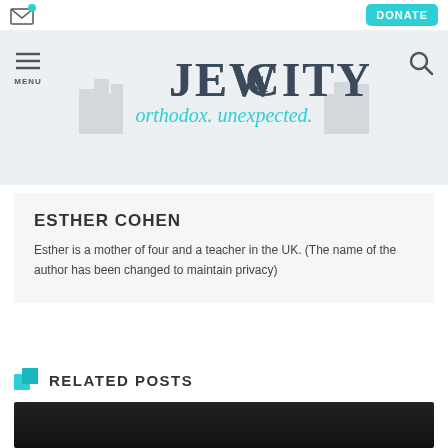Jew in the City — orthodox. unexpected.
ESTHER COHEN
Esther is a mother of four and a teacher in the UK. (The name of the author has been changed to maintain privacy)
RELATED POSTS
[Figure (photo): Dark photo strip at the bottom of the page, partially visible]